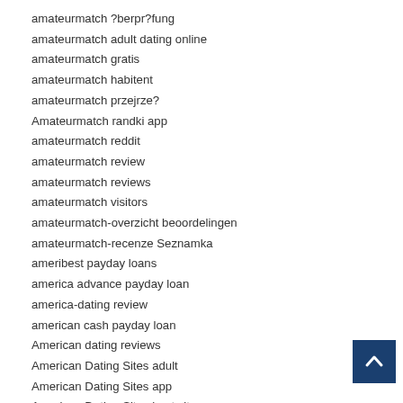amateurmatch ?berpr?fung
amateurmatch adult dating online
amateurmatch gratis
amateurmatch habitent
amateurmatch przejrze?
Amateurmatch randki app
amateurmatch reddit
amateurmatch review
amateurmatch reviews
amateurmatch visitors
amateurmatch-overzicht beoordelingen
amateurmatch-recenze Seznamka
ameribest payday loans
america advance payday loan
america-dating review
american cash payday loan
American dating reviews
American Dating Sites adult
American Dating Sites app
American Dating Sites best site
American Dating Sites dating
American Dating Sites visitors
American Dating Sites want site reviews
american payday loans